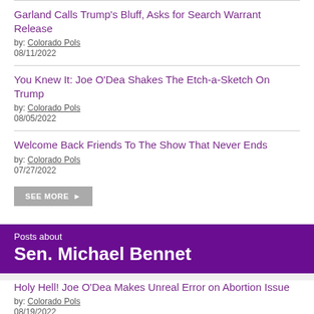Garland Calls Trump's Bluff, Asks for Search Warrant Release
by: Colorado Pols
08/11/2022
You Knew It: Joe O'Dea Shakes The Etch-a-Sketch On Trump
by: Colorado Pols
08/05/2022
Welcome Back Friends To The Show That Never Ends
by: Colorado Pols
07/27/2022
SEE MORE
Posts about
Sen. Michael Bennet
Holy Hell! Joe O'Dea Makes Unreal Error on Abortion Issue
by: Colorado Pols
08/19/2022